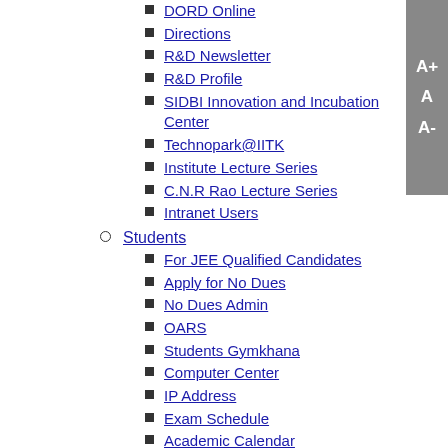DORD Online
Directions
R&D Newsletter
R&D Profile
SIDBI Innovation and Incubation Center
Technopark@IITK
Institute Lecture Series
C.N.R Rao Lecture Series
Intranet Users
Students
For JEE Qualified Candidates
Apply for No Dues
No Dues Admin
OARS
Students Gymkhana
Computer Center
IP Address
Exam Schedule
Academic Calendar
Student Campus Life
Vox Populi
Brihaspati
DOAA
English Social History by G M Trevelyan, vintage Pelican paperba